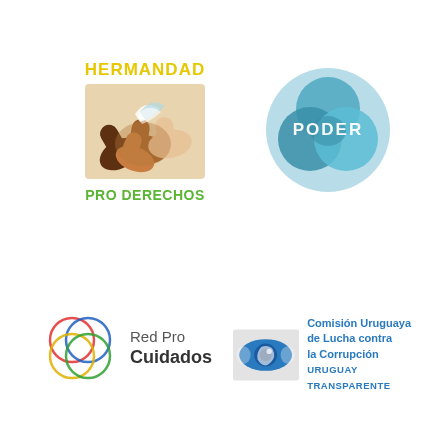[Figure (logo): Hermandad Pro Derechos logo: hands holding each other with yellow text HERMANDAD above and green text PRO DERECHOS below]
[Figure (logo): PODER logo: three overlapping teal/blue circles forming a venn diagram shape with PODER text in white]
[Figure (logo): Red Pro Cuidados logo: four overlapping colored circles (red, blue, yellow, green) with text Red Pro Cuidados]
[Figure (logo): Comision Uruguaya de Lucha contra la Corrupcion - Uruguay Transparente logo: eye symbol with Uruguay map, blue text]